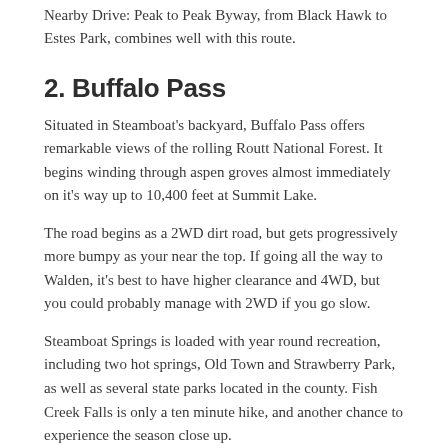Nearby Drive: Peak to Peak Byway, from Black Hawk to Estes Park, combines well with this route.
2. Buffalo Pass
Situated in Steamboat's backyard, Buffalo Pass offers remarkable views of the rolling Routt National Forest. It begins winding through aspen groves almost immediately on it's way up to 10,400 feet at Summit Lake.
The road begins as a 2WD dirt road, but gets progressively more bumpy as your near the top. If going all the way to Walden, it's best to have higher clearance and 4WD, but you could probably manage with 2WD if you go slow.
Steamboat Springs is loaded with year round recreation, including two hot springs, Old Town and Strawberry Park, as well as several state parks located in the county. Fish Creek Falls is only a ten minute hike, and another chance to experience the season close up.
Trip: Steamboat Springs to Walden, 15 miles (~40 miles to Walden), 2WD/4WD